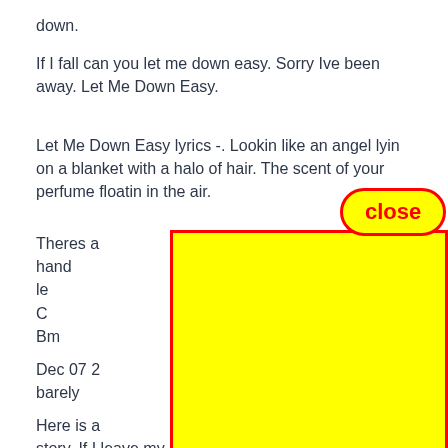down.
If I fall can you let me down easy. Sorry Ive been away. Let Me Down Easy.
Let Me Down Easy lyrics -. Lookin like an angel lyin on a blanket with a halo of hair. The scent of your perfume floatin in the air.
[Figure (other): Yellow rectangle overlay with red border covering part of the page content, and a red-bordered rounded 'close' button label in yellow above it]
Theres a                                                                    re taking my hand                                                                    f I fall can ya le                                                                   ith you tonight C                                                                    reat it right Bm                                                                    ou let me dow
Dec 07 2                                                                    h lyrics. Im barely                                                                 tanding now.
Here is a                                                                   ation of the story. If I leave my heart with you tonight will you